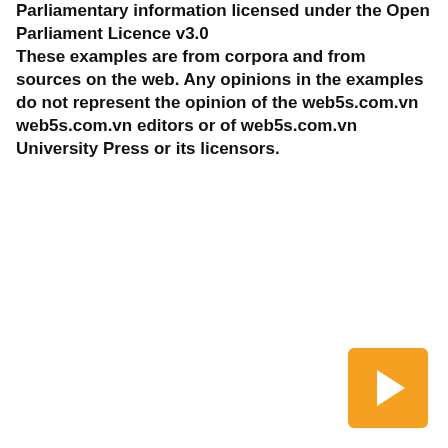Parliamentary information licensed under the Open Parliament Licence v3.0 These examples are from corpora and from sources on the web. Any opinions in the examples do not represent the opinion of the web5s.com.vn web5s.com.vn editors or of web5s.com.vn University Press or its licensors.
[Figure (other): Orange square navigation button with a right-pointing arrow icon]